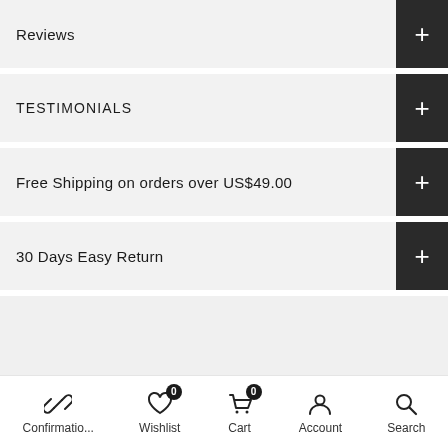Reviews
TESTIMONIALS
Free Shipping on orders over US$49.00
30 Days Easy Return
Get in touch
Confirmatio... | Wishlist 0 | Cart 0 | Account | Search